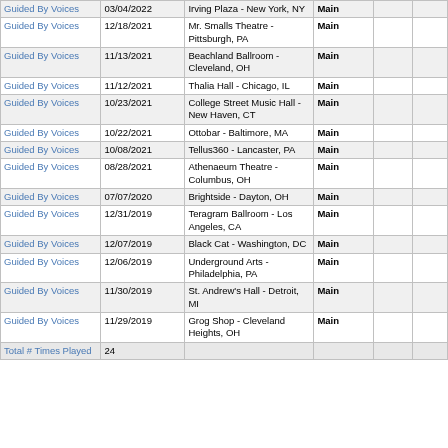| Artist | Date | Venue | Type |  |  |
| --- | --- | --- | --- | --- | --- |
| Guided By Voices | 03/04/2022 | Irving Plaza - New York, NY | Main |  |  |
| Guided By Voices | 12/18/2021 | Mr. Smalls Theatre - Pittsburgh, PA | Main |  |  |
| Guided By Voices | 11/13/2021 | Beachland Ballroom - Cleveland, OH | Main |  |  |
| Guided By Voices | 11/12/2021 | Thalia Hall - Chicago, IL | Main |  |  |
| Guided By Voices | 10/23/2021 | College Street Music Hall - New Haven, CT | Main |  |  |
| Guided By Voices | 10/22/2021 | Ottobar - Baltimore, MA | Main |  |  |
| Guided By Voices | 10/08/2021 | Tellus360 - Lancaster, PA | Main |  |  |
| Guided By Voices | 08/28/2021 | Athenaeum Theatre - Columbus, OH | Main |  |  |
| Guided By Voices | 07/07/2020 | Brightside - Dayton, OH | Main |  |  |
| Guided By Voices | 12/31/2019 | Teragram Ballroom - Los Angeles, CA | Main |  |  |
| Guided By Voices | 12/07/2019 | Black Cat - Washington, DC | Main |  |  |
| Guided By Voices | 12/06/2019 | Underground Arts - Philadelphia, PA | Main |  |  |
| Guided By Voices | 11/30/2019 | St. Andrew's Hall - Detroit, MI | Main |  |  |
| Guided By Voices | 11/29/2019 | Grog Shop - Cleveland Heights, OH | Main |  |  |
| Total # Times Played | 24 |  |  |  |  |